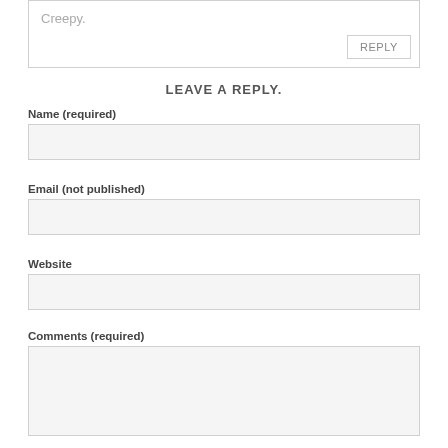Creepy.
REPLY
LEAVE A REPLY.
Name (required)
Email (not published)
Website
Comments (required)